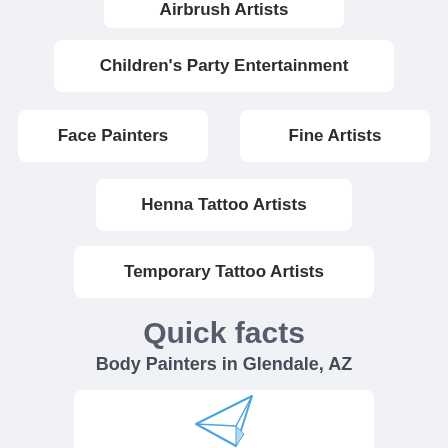Airbrush Artists
Children's Party Entertainment
Face Painters
Fine Artists
Henna Tattoo Artists
Temporary Tattoo Artists
Quick facts
Body Painters in Glendale, AZ
[Figure (illustration): Paper airplane icon in blue outline style]